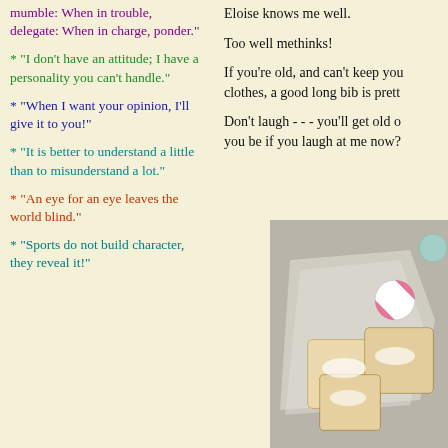mumble: When in trouble, delegate: When in charge, ponder."
* "I don't have an attitude; I have a personality you can't handle."
* "When I want your opinion, I'll give it to you!"
* "It is better to understand a little than to misunderstand a lot."
* "An eye for an eye leaves the world blind."
* "Sports do not build character, they reveal it!"
Eloise knows me well.
Too well methinks!
If you're old, and can't keep your clothes, a good long bib is prett...
Don't laugh - - - you'll get old on... you be if you laugh at me now?
[Figure (photo): A photograph of powdered sugar-dusted baked goods (pastries or toast squares) on a plastic bag/wrapping, with a round peppermint candy visible.]